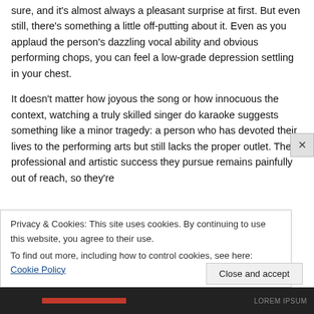sure, and it's almost always a pleasant surprise at first. But even still, there's something a little off-putting about it. Even as you applaud the person's dazzling vocal ability and obvious performing chops, you can feel a low-grade depression settling in your chest.
It doesn't matter how joyous the song or how innocuous the context, watching a truly skilled singer do karaoke suggests something like a minor tragedy: a person who has devoted their lives to the performing arts but still lacks the proper outlet. The professional and artistic success they pursue remains painfully out of reach, so they're
Privacy & Cookies: This site uses cookies. By continuing to use this website, you agree to their use.
To find out more, including how to control cookies, see here: Cookie Policy
Close and accept